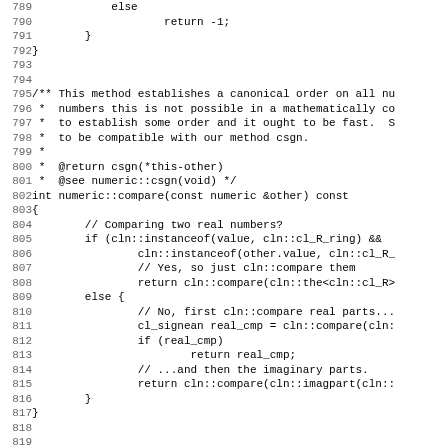Source code listing lines 789-821, showing C++ numeric::compare and numeric::is_equal functions